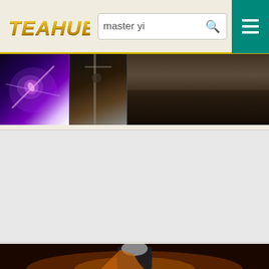[Figure (screenshot): TEAHUB website header with logo, search bar with 'master yi' query, search icon, and green hamburger menu button]
[Figure (photo): Three gaming/anime image thumbnails in a horizontal strip: purple magical figure, dark sword fighter, dark landscape scene]
[Figure (photo): Light gray advertisement placeholder area]
[Figure (illustration): Dark fantasy illustration of an armored knight/warrior in silver and orange armor with cape, standing against dark fiery background]